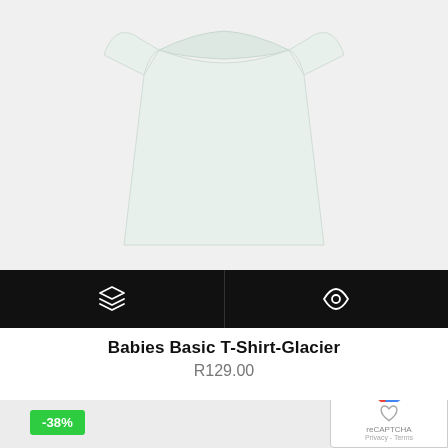[Figure (photo): White baby t-shirt laid flat on a light grey/white background, product photo from above]
[Figure (infographic): Black action bar with two icon buttons: a layers/stack icon on the left and an eye/view icon on the right, separated by a vertical line]
Babies Basic T-Shirt-Glacier
R129.00
[Figure (screenshot): Bottom strip showing start of next product card with -38% discount badge on grey background, and reCAPTCHA widget overlay on the right]